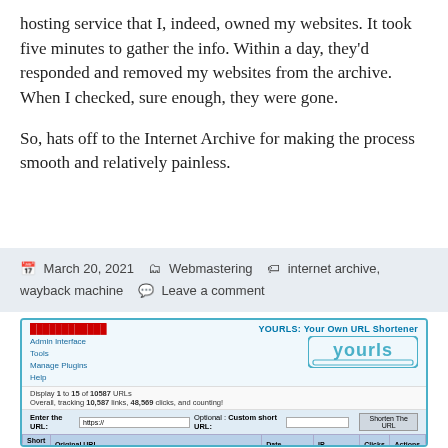hosting service that I, indeed, owned my websites. It took five minutes to gather the info. Within a day, they'd responded and removed my websites from the archive. When I checked, sure enough, they were gone.
So, hats off to the Internet Archive for making the process smooth and relatively painless.
March 20, 2021   Webmastering   internet archive, wayback machine   Leave a comment
[Figure (screenshot): Screenshot of YOURLS: Your Own URL Shortener admin interface showing URL shortening tool with navigation links, stats showing 10,587 links and 48,569 clicks, a URL entry form, and a table of short URLs including entries for BS1 and BS0.]